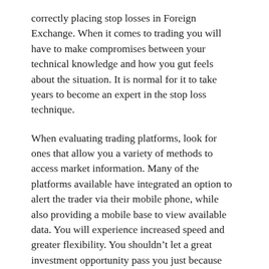correctly placing stop losses in Foreign Exchange. When it comes to trading you will have to make compromises between your technical knowledge and how you gut feels about the situation. It is normal for it to take years to become an expert in the stop loss technique.
When evaluating trading platforms, look for ones that allow you a variety of methods to access market information. Many of the platforms available have integrated an option to alert the trader via their mobile phone, while also providing a mobile base to view available data. You will experience increased speed and greater flexibility. You shouldn't let a great investment opportunity pass you just because you don't have the internet.
This handpicked selection of tips and tricks is from successful traders who have experience with foreign